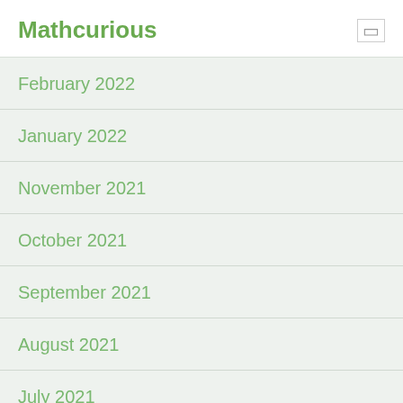Mathcurious
February 2022
January 2022
November 2021
October 2021
September 2021
August 2021
July 2021